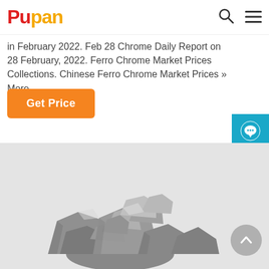Pupan
in February 2022. Feb 28 Chrome Daily Report on 28 February, 2022. Ferro Chrome Market Prices Collections. Chinese Ferro Chrome Market Prices » More.
Get Price
[Figure (photo): Pile of ferro chrome/metallic rocks on a light grey background]